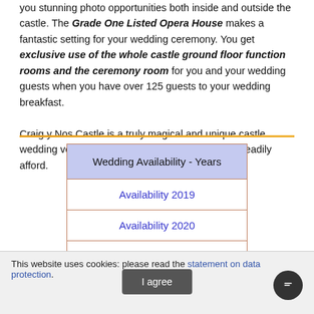you stunning photo opportunities both inside and outside the castle. The Grade One Listed Opera House makes a fantastic setting for your wedding ceremony. You get exclusive use of the whole castle ground floor function rooms and the ceremony room for you and your wedding guests when you have over 125 guests to your wedding breakfast.

Craig y Nos Castle is a truly magical and unique castle wedding venue that Brides and Grooms can now readily afford.
| Wedding Availability - Years |
| --- |
| Availability 2019 |
| Availability 2020 |
| Availability 2021 |
| Availability 2022 |
This website uses cookies: please read the statement on data protection.